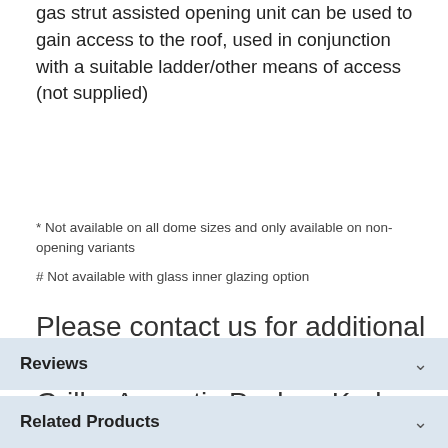gas strut assisted opening unit can be used to gain access to the roof, used in conjunction with a suitable ladder/other means of access (not supplied)
* Not available on all dome sizes and only available on non-opening variants
# Not available with glass inner glazing option
Please contact us for additional accessories such as Security Grille, Acoustic Pack or Kerb Adapter
Reviews
Related Products